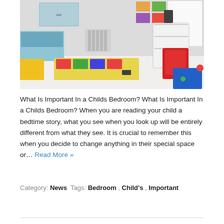[Figure (photo): A child's bedroom with a colorful play mat on the floor, toys scattered around, a bed in the left corner, shelving unit on the right with colorful items, maps on the wall, and a bright white room.]
What Is Important In a Childs Bedroom? What Is Important In a Childs Bedroom? When you are reading your child a bedtime story, what you see when you look up will be entirely different from what they see. It is crucial to remember this when you decide to change anything in their special space or… Read More »
Category: News Tags: Bedroom, Child's, Important